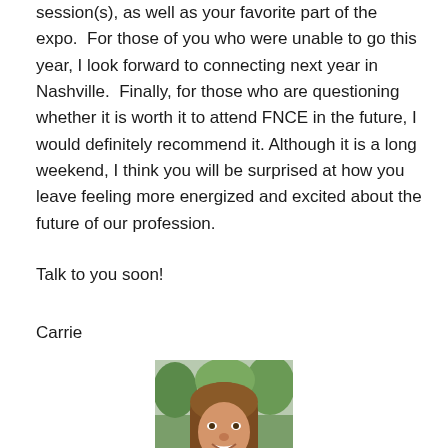session(s), as well as your favorite part of the expo.  For those of you who were unable to go this year, I look forward to connecting next year in Nashville.  Finally, for those who are questioning whether it is worth it to attend FNCE in the future, I would definitely recommend it.  Although it is a long weekend, I think you will be surprised at how you leave feeling more energized and excited about the future of our profession.
Talk to you soon!
Carrie
[Figure (photo): Headshot of a woman with long brown hair, smiling, outdoors with greenery in the background]